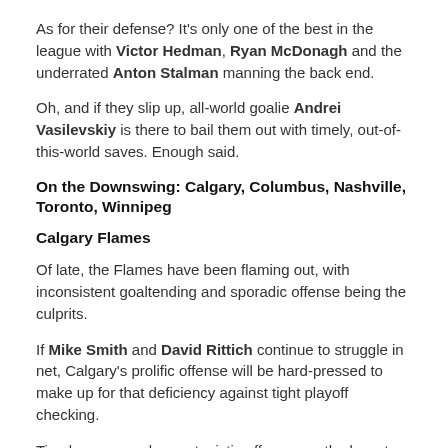As for their defense? It's only one of the best in the league with Victor Hedman, Ryan McDonagh and the underrated Anton Stalman manning the back end.
Oh, and if they slip up, all-world goalie Andrei Vasilevskiy is there to bail them out with timely, out-of-this-world saves. Enough said.
On the Downswing: Calgary, Columbus, Nashville, Toronto, Winnipeg
Calgary Flames
Of late, the Flames have been flaming out, with inconsistent goaltending and sporadic offense being the culprits.
If Mike Smith and David Rittich continue to struggle in net, Calgary's prolific offense will be hard-pressed to make up for that deficiency against tight playoff checking.
Timely saves and opportunistic offense are the keys to playoff success. At this point in time, the Flames have neither. That could serve as the harbinger of a frustrating first-round exit.
Columbus Blue Jackets
When the Jackets traded for Matt Duchene and Ryan Dzingel at the NHL trade deadline, it looked as if they had the potential to